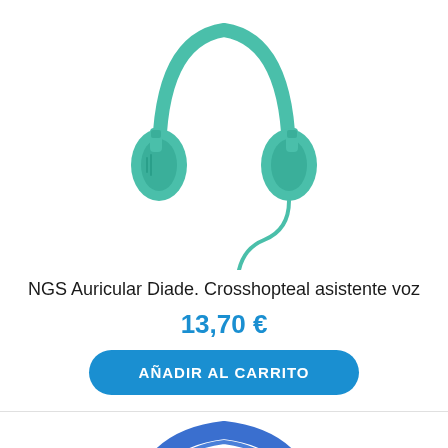[Figure (photo): Teal/green over-ear headphones with wired cable, viewed from front, on white background]
NGS Auricular Diade. Crosshopteal asistente voz
13,70 €
AÑADIR AL CARRITO
[Figure (photo): Blue over-ear headphones, top arc/headband visible, bottom cropped, on white background]